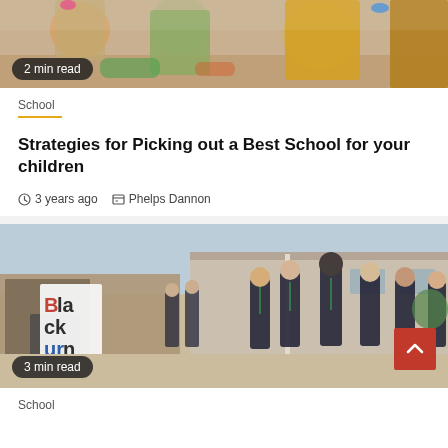[Figure (photo): Children sitting at a table in a classroom, viewed from behind/above, colorful setting.]
2 min read
School
Strategies for Picking out a Best School for your children
3 years ago  Phelps Dannon
[Figure (photo): School students in dark blazer uniforms walking outside a school building with a Blackburn sign visible.]
3 min read
School